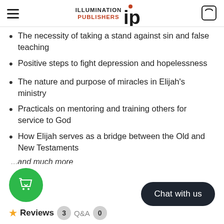Illumination Publishers — Navigation and cart header
The necessity of taking a stand against sin and false teaching
Positive steps to fight depression and hopelessness
The nature and purpose of miracles in Elijah's ministry
Practicals on mentoring and training others for service to God
How Elijah serves as a bridge between the Old and New Testaments
...and much more
[Figure (other): Green circular shopping bag with heart icon button, and dark rounded 'Chat with us' button, and Reviews section with star, badge '3', Q&A label, badge '0']